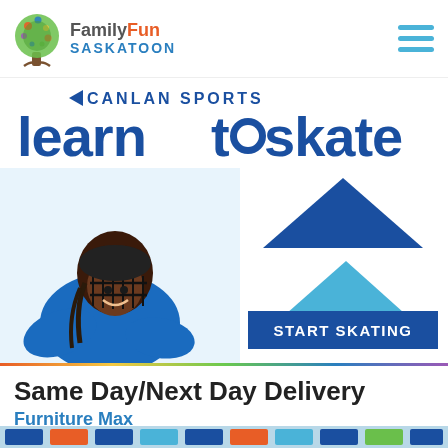Family Fun Saskatoon — navigation header with hamburger menu
[Figure (screenshot): Canlan Sports Learn to Skate promotional banner. Shows partial 'CANLAN SPORTS' text at top, large bold 'learntoskate' logo in dark blue with circular 'o', a child in hockey helmet and blue hoodie on the left, two blue triangles (dark and light) stacked on the right, and a dark blue 'START SKATING' button.]
Same Day/Next Day Delivery
Furniture Max